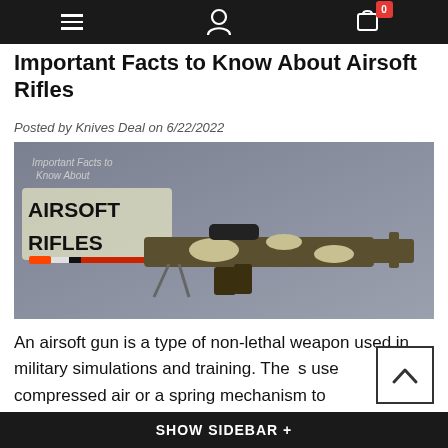Navigation bar with hamburger menu, user icon, and cart with badge 0
Important Facts to Know About Airsoft Rifles
Posted by Knives Deal on 6/22/2022
[Figure (photo): Airsoft rifle with camouflage pattern, red-tipped barrel, and scope, overlaid with text 'Important Facts to Know About AIRSOFT RIFLES' on a grey background]
An airsoft gun is a type of non-lethal weapon used in military simulations and training. These guns use compressed air or a spring mechanism to
SHOW SIDEBAR +